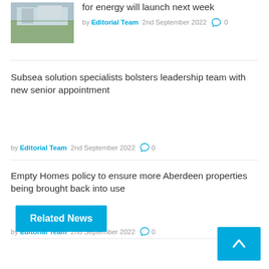[Figure (photo): Small thumbnail photo of a building with solar panels or similar structure in a field]
for energy will launch next week
by Editorial Team  2nd September 2022  💬 0
Subsea solution specialists bolsters leadership team with new senior appointment
by Editorial Team  2nd September 2022  💬 0
Empty Homes policy to ensure more Aberdeen properties being brought back into use
by Editorial Team  2nd September 2022  💬 0
Related News